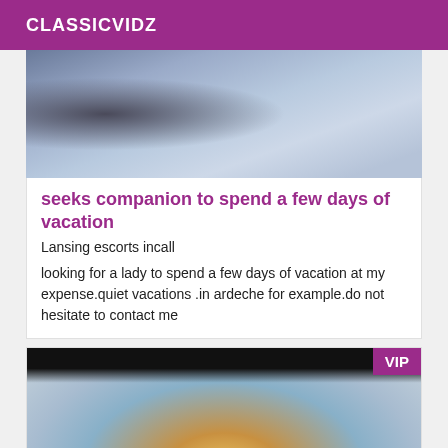CLASSICVIDZ
[Figure (photo): Close-up photo of denim jeans fabric showing texture and stitching]
seeks companion to spend a few days of vacation
Lansing escorts incall
looking for a lady to spend a few days of vacation at my expense.quiet vacations .in ardeche for example.do not hesitate to contact me
[Figure (photo): Photo with VIP badge in top right corner, showing warm amber and blue tones, partially visible figure]